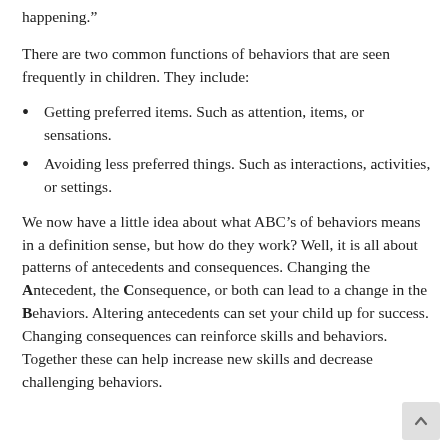happening.”
There are two common functions of behaviors that are seen frequently in children. They include:
Getting preferred items. Such as attention, items, or sensations.
Avoiding less preferred things. Such as interactions, activities, or settings.
We now have a little idea about what ABC’s of behaviors means in a definition sense, but how do they work? Well, it is all about patterns of antecedents and consequences. Changing the Antecedent, the Consequence, or both can lead to a change in the Behaviors. Altering antecedents can set your child up for success. Changing consequences can reinforce skills and behaviors. Together these can help increase new skills and decrease challenging behaviors.